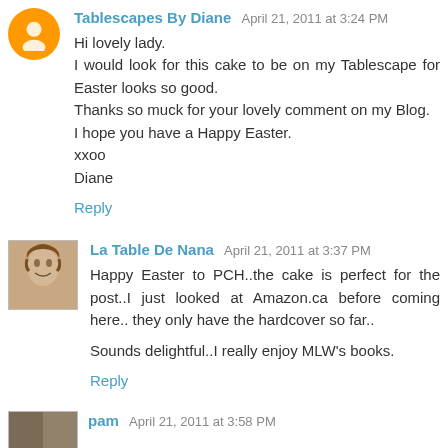Tablescapes By Diane April 21, 2011 at 3:24 PM
Hi lovely lady.
I would look for this cake to be on my Tablescape for Easter looks so good.
Thanks so muck for your lovely comment on my Blog.
I hope you have a Happy Easter.
xxoo
Diane
Reply
La Table De Nana April 21, 2011 at 3:37 PM
Happy Easter to PCH..the cake is perfect for the post..I just looked at Amazon.ca before coming here.. they only have the hardcover so far..

Sounds delightful..I really enjoy MLW's books.
Reply
pam April 21, 2011 at 3:58 PM